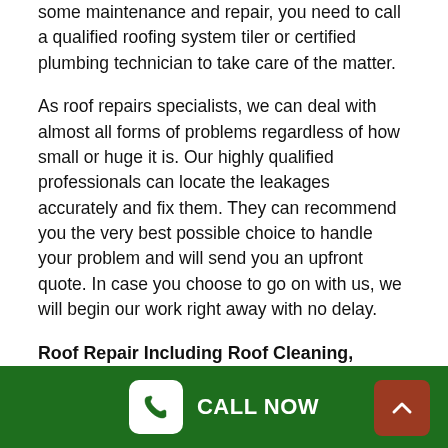some maintenance and repair, you need to call a qualified roofing system tiler or certified plumbing technician to take care of the matter.
As roof repairs specialists, we can deal with almost all forms of problems regardless of how small or huge it is. Our highly qualified professionals can locate the leakages accurately and fix them. They can recommend you the very best possible choice to handle your problem and will send you an upfront quote. In case you choose to go on with us, we will begin our work right away with no delay.
Roof Repair Including Roof Cleaning, Repointing And Replacing Broken Tiles In Bennettswood
Employing a specialist roof restoration professional can be a cost effective option to changing your whole roofing. For
CALL NOW